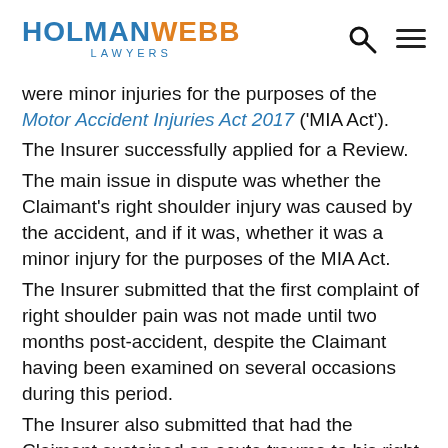HOLMAN WEBB LAWYERS
were minor injuries for the purposes of the Motor Accident Injuries Act 2017 ('MIA Act').
The Insurer successfully applied for a Review.
The main issue in dispute was whether the Claimant's right shoulder injury was caused by the accident, and if it was, whether it was a minor injury for the purposes of the MIA Act.
The Insurer submitted that the first complaint of right shoulder pain was not made until two months post-accident, despite the Claimant having been examined on several occasions during this period.
The Insurer also submitted that had the Claimant sustained an acute trauma to his right shoulder,